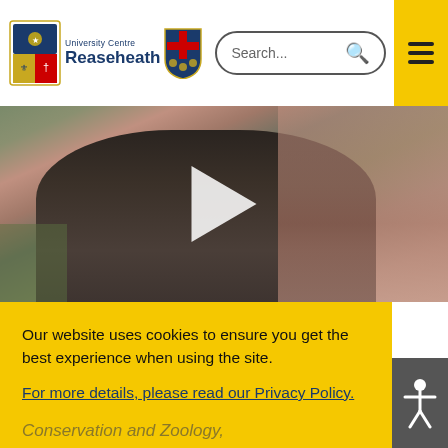University Centre Reaseheath — Search bar and navigation menu
[Figure (photo): A man wearing a dark fleece jacket standing outdoors in front of a red-brick building, with a white play button overlay indicating a video]
Our website uses cookies to ensure you get the best experience when using the site.
For more details, please read our Privacy Policy.
I'm fine with that
Conservation and Zoology,